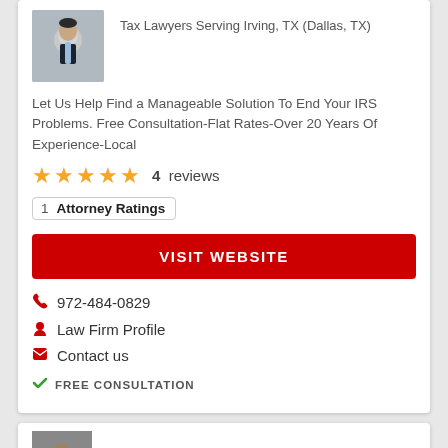[Figure (photo): Headshot of a man in a dark suit with a light blue tie, partially visible at top of card]
Tax Lawyers Serving Irving, TX (Dallas, TX)
Let Us Help Find a Manageable Solution To End Your IRS Problems. Free Consultation-Flat Rates-Over 20 Years Of Experience-Local
★★★★★  4  reviews
1   Attorney Ratings
VISIT WEBSITE
972-484-0829
Law Firm Profile
Contact us
FREE CONSULTATION
[Figure (photo): Partially visible headshot at bottom of page in second card]